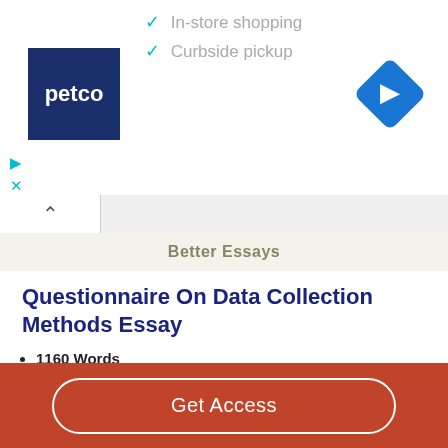[Figure (screenshot): Petco advertisement banner with checkmarks for In-store shopping and Curbside pickup, Petco logo (dark blue square), navigation diamond icon, and close/dismiss controls]
In-store shopping
Curbside pickup
Better Essays
Questionnaire On Data Collection Methods Essay
1160 Words
5 Pages
Data Collection Methods This study will collect and collate new data to assess the evaluation question by having patients fill out the patient preference Likert questionnaire before
Get Access